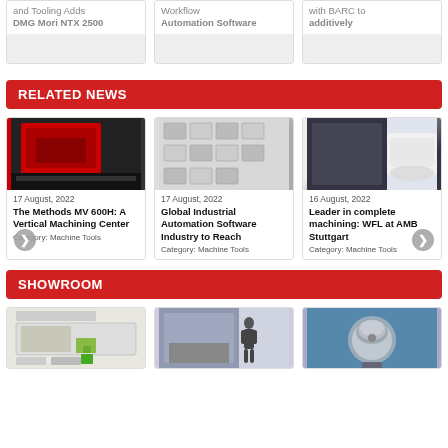[Figure (photo): Three partially visible news article cards at the top of the page showing machine-related content with truncated titles: 'and Tooling Adds DMG Mori NTX 2500', 'Workflow Automation Software', 'with BARC to additively']
RELATED NEWS
[Figure (photo): News card: photo of red vertical machining center. Date: 17 August, 2022. Title: The Methods MV 600H: A Vertical Machining Center. Category: Machine Tools]
[Figure (photo): News card: photo of industrial automation wall panels. Date: 17 August, 2022. Title: Global Industrial Automation Software Industry to Reach. Category: Machine Tools]
[Figure (photo): News card: photo of large white CNC machine. Date: 16 August, 2022. Title: Leader in complete machining: WFL at AMB Stuttgart. Category: Machine Tools]
SHOWROOM
[Figure (photo): Showroom card with 3D printer product image]
[Figure (photo): Showroom card with CNC machine and worker photo]
[Figure (photo): Showroom card with turbine ventilator product on blue background]